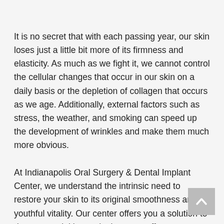It is no secret that with each passing year, our skin loses just a little bit more of its firmness and elasticity. As much as we fight it, we cannot control the cellular changes that occur in our skin on a daily basis or the depletion of collagen that occurs as we age. Additionally, external factors such as stress, the weather, and smoking can speed up the development of wrinkles and make them much more obvious.
At Indianapolis Oral Surgery & Dental Implant Center, we understand the intrinsic need to restore your skin to its original smoothness and youthful vitality. Our center offers you a solution to decrease wrinkles and take years off your appearance. Using an injectable filler called BOTOX®, Dr. Falender can fill creases and lines to make your skin appear smooth, healthy, and wrinkle free